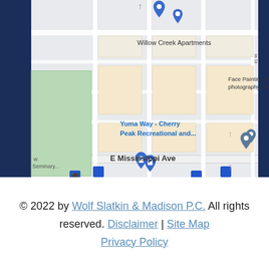[Figure (map): Google Maps screenshot showing street map of Denver area near E Mississippi Ave, with location pins for Willow Creek Apartments, Yuma Way - Cherry Peak Recreational area, Urban Phenix - Infinity Park, Denver Coe(d), Face Painting Art classes photography, and seminary. Bus stop icons visible along E Mississippi Ave.]
© 2022 by Wolf Slatkin & Madison P.C. All rights reserved. Disclaimer | Site Map Privacy Policy